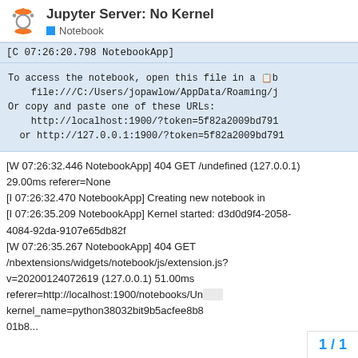Jupyter Server: No Kernel
Notebook
[C 07:26:20.798 NotebookApp]
To access the notebook, open this file in a browser:
    file:///C:/Users/jopawlow/AppData/Roaming/j
Or copy and paste one of these URLs:
    http://localhost:1900/?token=5f82a2009bd791
  or http://127.0.0.1:1900/?token=5f82a2009bd791
[W 07:26:32.446 NotebookApp] 404 GET /undefined (127.0.0.1) 29.00ms referer=None
[I 07:26:32.470 NotebookApp] Creating new notebook in
[I 07:26:35.209 NotebookApp] Kernel started: d3d0d9f4-2058-4084-92da-9107e65db82f
[W 07:26:35.267 NotebookApp] 404 GET /nbextensions/widgets/notebook/js/extension.js?v=20200124072619 (127.0.0.1) 51.00ms referer=http://localhost:1900/notebooks/Ur kernel_name=python38032bit9b5acfee8b8
01b8...
1 / 1